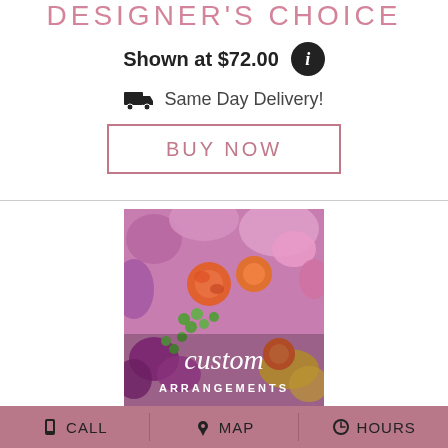DESIGNER'S CHOICE
Shown at $72.00
Same Day Delivery!
BUY NOW
[Figure (photo): Custom floral arrangement photo with orange roses, purple carnations, and pink flowers with overlay text reading 'custom ARRANGEMENTS']
CALL  MAP  HOURS